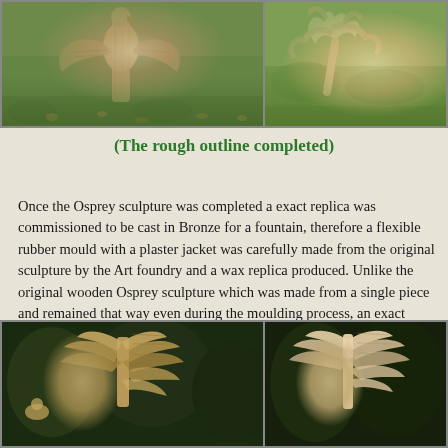[Figure (photo): Two photographs at the top: left shows a wooden Osprey sculpture carving in progress on grass with fallen leaves, right shows a detail of the carved wing/feather shapes against green grass background.]
(The rough outline completed)
Once the Osprey sculpture was completed a exact replica was commissioned to be cast in Bronze for a fountain, therefore a flexible rubber mould with a plaster jacket was carefully made from the original sculpture by the Art foundry and a wax replica produced. Unlike the original wooden Osprey sculpture which was made from a single piece and remained that way even during the moulding process, an exact replica was made from the several separate hollow pieces cast in bronze and then welded together.
[Figure (photo): Two photographs at the bottom: left shows wooden Osprey wing sections with spread feathers against dark foliage background, right shows similar wing pieces in lighter coloring against dark background.]